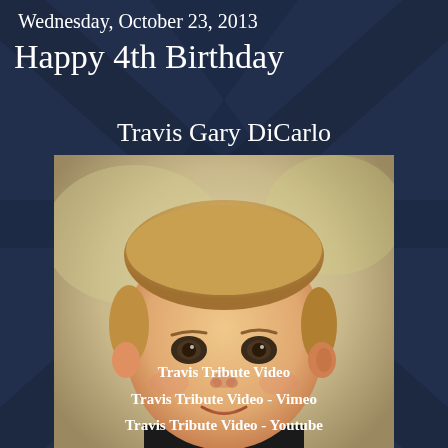Wednesday, October 23, 2013
Happy 4th Birthday
Travis Gary DiCarlo
[Figure (photo): Portrait photo of a young toddler boy with blonde/light hair, brown eyes, smiling slightly, wearing a dark shirt, against a soft blurred background]
Travis Tribute Video
Travis Tribute Video - Vimeo
Travis Tribute Video - Youtube